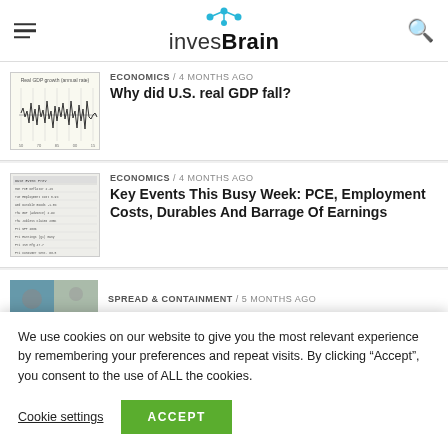invesBrain
ECONOMICS / 4 months ago
Why did U.S. real GDP fall?
[Figure (continuous-plot): Small thumbnail chart showing Real GDP growth (annual rate) as a line chart with historical fluctuations]
ECONOMICS / 4 months ago
Key Events This Busy Week: PCE, Employment Costs, Durables And Barrage Of Earnings
[Figure (table-as-image): Small thumbnail showing a data table with economic calendar events]
SPREAD & CONTAINMENT / 5 months ago
We use cookies on our website to give you the most relevant experience by remembering your preferences and repeat visits. By clicking "Accept", you consent to the use of ALL the cookies.
Cookie settings
ACCEPT